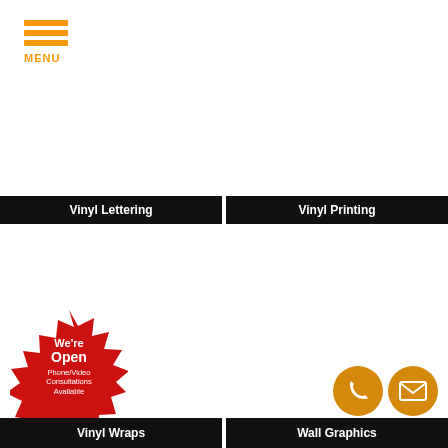[Figure (logo): Orange hamburger menu icon with three horizontal bars and MENU label below]
Vinyl Lettering
Vinyl Printing
[Figure (infographic): Red starburst badge with text: We're Open Phone/Video Consultations Available]
Vinyl Wraps
Wall Graphics
[Figure (infographic): Orange circle phone icon and orange circle email/envelope icon]